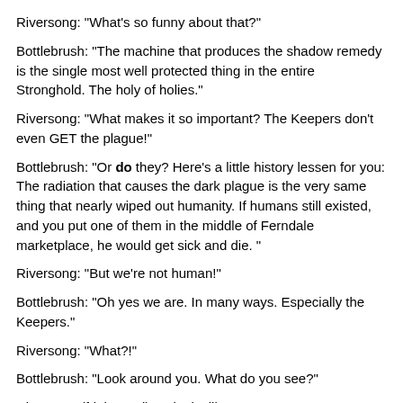Riversong: "What's so funny about that?"
Bottlebrush: "The machine that produces the shadow remedy is the single most well protected thing in the entire Stronghold. The holy of holies."
Riversong: "What makes it so important? The Keepers don't even GET the plague!"
Bottlebrush: "Or do they? Here's a little history lessen for you: The radiation that causes the dark plague is the very same thing that nearly wiped out humanity. If humans still existed, and you put one of them in the middle of Ferndale marketplace, he would get sick and die. "
Riversong: "But we're not human!"
Bottlebrush: "Oh yes we are. In many ways. Especially the Keepers."
Riversong: "What?!"
Bottlebrush: "Look around you. What do you see?"
Riversong (frightened): "It looks like ... cages ..."